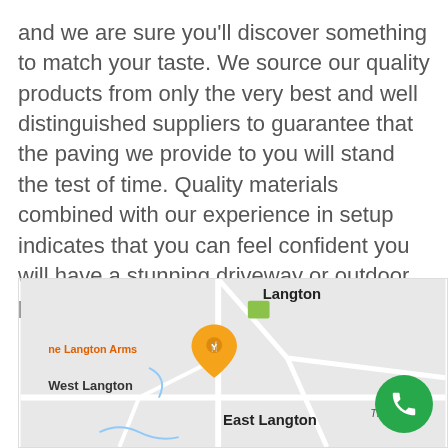and we are sure you'll discover something to match your taste. We source our quality products from only the very best and well distinguished suppliers to guarantee that the paving we provide to you will stand the test of time. Quality materials combined with our experience in setup indicates that you can feel confident you will have a stunning driveway or outdoor patio for several years to come.
[Figure (map): Google Maps screenshot showing Langton area including West Langton, East Langton, Langton, The Langton Arms pub marker, and Thorpe L label. Orange location pin with fork/knife icon visible.]